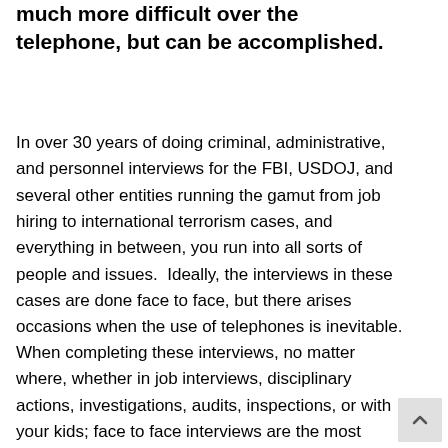much more difficult over the telephone, but can be accomplished.
In over 30 years of doing criminal, administrative, and personnel interviews for the FBI, USDOJ, and several other entities running the gamut from job hiring to international terrorism cases, and everything in between, you run into all sorts of people and issues.  Ideally, the interviews in these cases are done face to face, but there arises occasions when the use of telephones is inevitable.
When completing these interviews, no matter where, whether in job interviews, disciplinary actions, investigations, audits, inspections, or with your kids; face to face interviews are the most revealing and effective method...